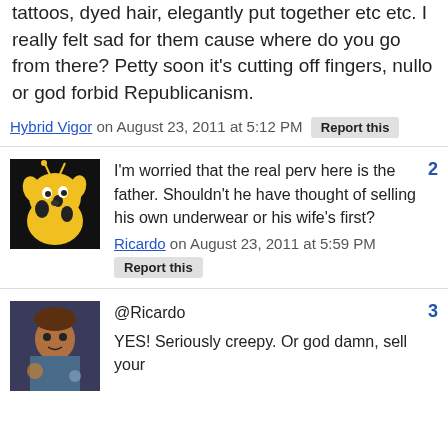tattoos, dyed hair, elegantly put together etc etc. I really felt sad for them cause where do you go from there? Petty soon it's cutting off fingers, nullo or god forbid Republicanism.
Hybrid Vigor on August 23, 2011 at 5:12 PM  Report this
I'm worried that the real perv here is the father. Shouldn't he have thought of selling his own underwear or his wife's first?
Ricardo on August 23, 2011 at 5:59 PM  Report this
@Ricardo
YES! Seriously creepy. Or god damn, sell your